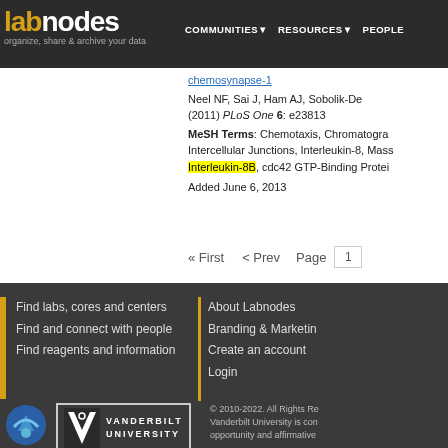labnodes | organize, share & archive your data | COMMUNITIES | RESOURCES | PEOPLE
chemosynapse-1
Neel NF, Sai J, Ham AJ, Sobolik-De... (2011) PLoS One 6: e23813
MeSH Terms: Chemotaxis, Chromatogra... Intercellular Junctions, Interleukin-8, Mass... Interleukin-8B, cdc42 GTP-Binding Protei...
Added June 6, 2013
« First  < Prev  Page 1
Find labs, cores and centers
Find and connect with people
Find reagents and information
About Labnodes
Branding & Marketing
Create an account
Login
© 2010-2022. All Rights Re... Vanderbilt University is con... opportunity and affirmative